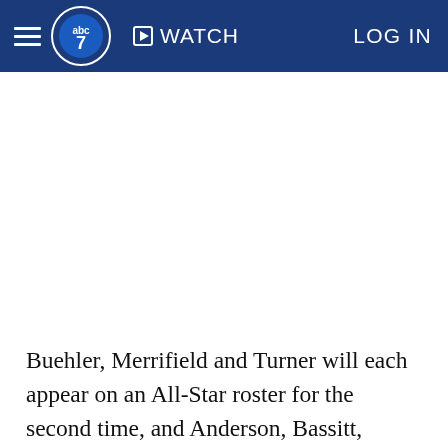ABC7 News — WATCH | LOG IN
Buehler, Merrifield and Turner will each appear on an All-Star roster for the second time, and Anderson, Bassitt, Peralta, Narvaez, Walker and Wendle each earn their first selections -- making it a record 40 first-